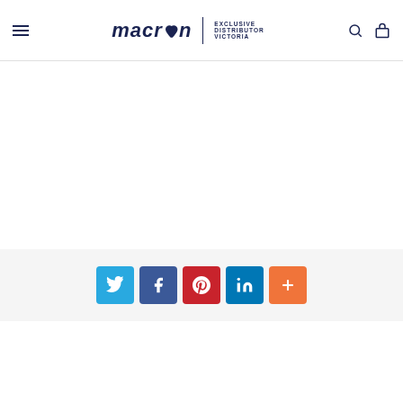macron | EXCLUSIVE DISTRIBUTOR VICTORIA
[Figure (other): Social share buttons: Twitter, Facebook, Pinterest, LinkedIn, More (+)]
RELATED PRODUCTS
[Figure (other): Product thumbnail left with Sale 58% badge, teal/green product]
[Figure (other): Product thumbnail right with Sale 58% badge, green product]